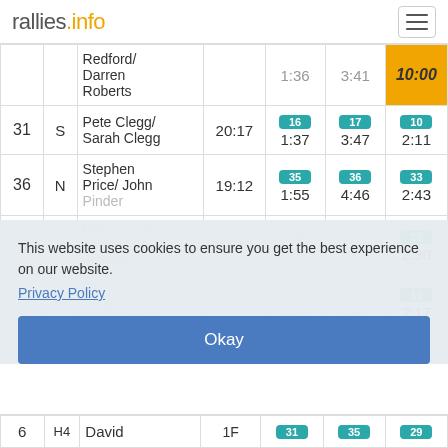rallies.info
| # | Class | Crew | Time | SS1 | SS2 | SS3 |
| --- | --- | --- | --- | --- | --- | --- |
|  |  | Redford/ Darren Roberts |  | 1:36 | 3:41 | 10:00 |
| 31 | S | Pete Clegg/ Sarah Clegg | 20:17 | 16
1:37 | 17
3:47 | 10
2:11 |
| 36 | N | Stephen Price/ John Pinder | 19:12 | 35
1:55 | 36
4:46 | 33
2:43 |
| 27 | S | Pete Jagger/ Andy Stewart | 23:40 | 56
1:46 | 57
4:02 | 28
2:30 |
| 22 | M | Dan Sedgwick/ Sam Ambler | 12:24 | 37
10:00 | 40
3:43 | 19
2:17 |
| 6 | H4 | David | 1F | 31 | 35 | 29 |
This website uses cookies to ensure you get the best experience on our website.
Privacy Policy
Okay